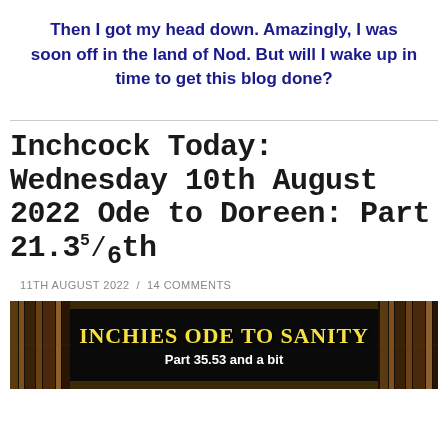Then I got my head down. Amazingly, I was soon off in the land of Nod. But will I wake up in time to get this blog done?
Inchcock Today: Wednesday 10th August 2022 Ode to Doreen: Part 21.3⁵⁄₆th
11TH AUGUST 2022 / 14 COMMENTS
[Figure (illustration): Banner image showing a dark bookshelf background with bold yellow text reading 'INCHIES ODE TO SANITY' and white subtitle text 'Part 35.53 and a bit']